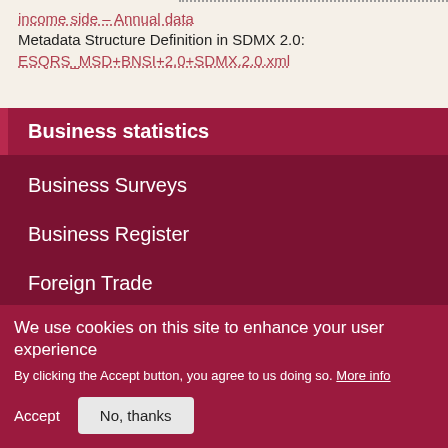income side – Annual data
Metadata Structure Definition in SDMX 2.0:
ESQRS_MSD+BNSI+2.0+SDMX.2.0.xml
Business statistics
Business Surveys
Business Register
Foreign Trade
Annual Business Statistics
Investments
We use cookies on this site to enhance your user experience
By clicking the Accept button, you agree to us doing so. More info
Accept
No, thanks